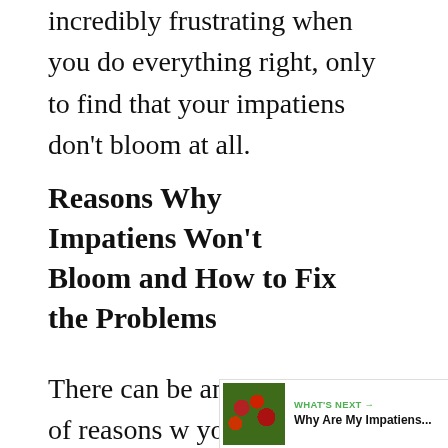incredibly frustrating when you do everything right, only to find that your impatiens don't bloom at all.
Reasons Why Impatiens Won't Bloom and How to Fix the Problems
There can be any number of reasons why your impatiens might not bloom. Here are a few reasons, and what you can do about them.